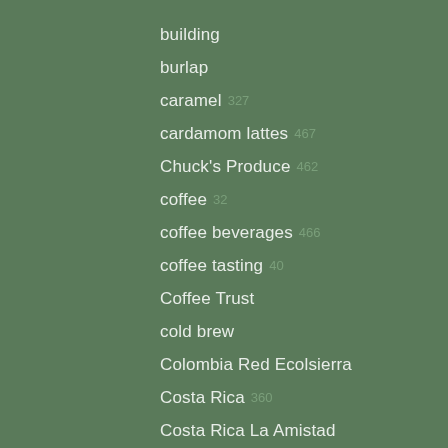building
burlap
caramel
cardamom lattes
Chuck's Produce
coffee
coffee beverages
coffee tasting
Coffee Trust
cold brew
Colombia Red Ecolsierra
Costa Rica
Costa Rica La Amistad